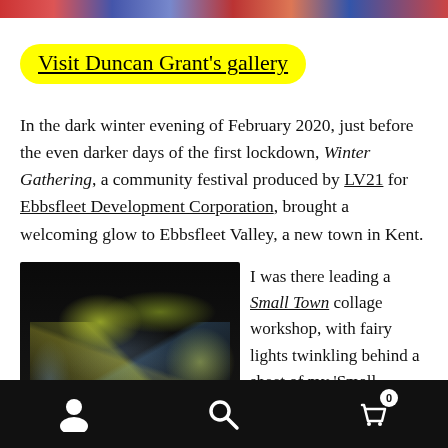[Figure (photo): Colorful banner/image strip at top of page]
Visit Duncan Grant's gallery
In the dark winter evening of February 2020, just before the even darker days of the first lockdown, Winter Gathering, a community festival produced by LV21 for Ebbsfleet Development Corporation, brought a welcoming glow to Ebbsfleet Valley, a new town in Kent.
[Figure (photo): Night photo of illuminated white ghost-like figures with fairy lights and colorful light streaks at a community festival event]
I was there leading a Small Town collage workshop, with fairy lights twinkling behind a sheet of my 'Small
Navigation bar with user, search, and cart (0) icons